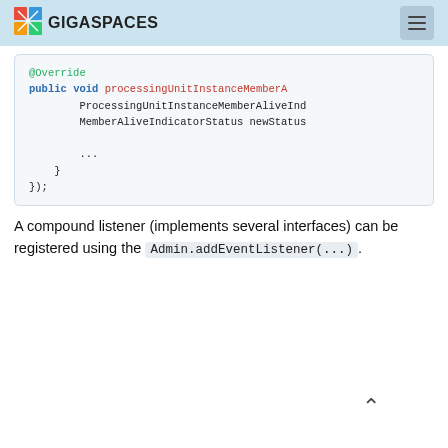GIGASPACES
[Figure (screenshot): Code block showing @Override annotation, public void processingUnitInstanceMemberA method signature with ProcessingUnitInstanceMemberAliveInd and MemberAliveIndicatorStatus newStatus parameters, ellipsis, closing braces and });]
A compound listener (implements several interfaces) can be registered using the Admin.addEventListener(...).